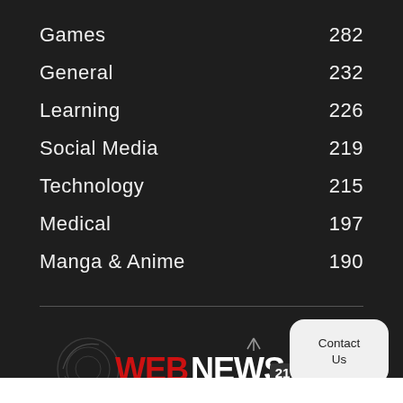Games  282
General  232
Learning  226
Social Media  219
Technology  215
Medical  197
Manga & Anime  190
[Figure (logo): WebNews21 logo in red and white text on dark background with circular graphic element]
Contact Us
[Figure (logo): TV21 icon - small TV with number 21]